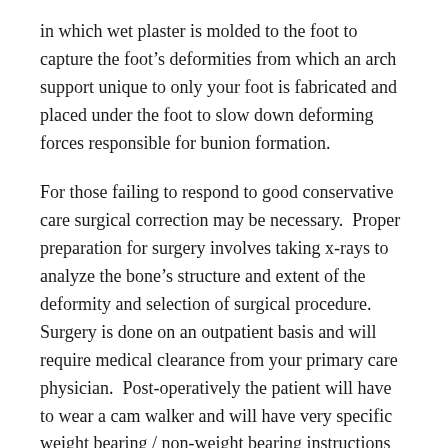in which wet plaster is molded to the foot to capture the foot's deformities from which an arch support unique to only your foot is fabricated and placed under the foot to slow down deforming forces responsible for bunion formation.
For those failing to respond to good conservative care surgical correction may be necessary. Proper preparation for surgery involves taking x-rays to analyze the bone's structure and extent of the deformity and selection of surgical procedure. Surgery is done on an outpatient basis and will require medical clearance from your primary care physician. Post-operatively the patient will have to wear a cam walker and will have very specific weight bearing / non-weight bearing instructions from their surgeon.